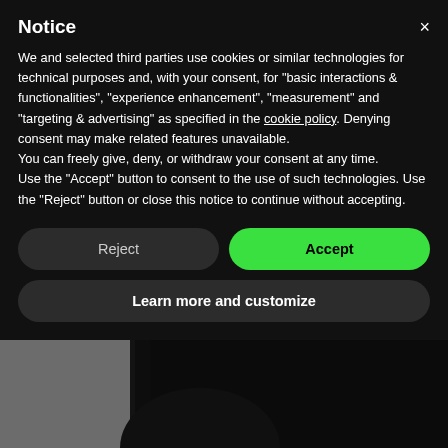[Figure (screenshot): Cookie/privacy consent modal overlay on top of a product page. Below the modal, a dark plastic device (appears to be an electronics product) is visible on a white background with an orange dot element. The modal has a black background with white text, a Reject button (dark), an Accept button (green), and a Learn more and customize button.]
Notice
We and selected third parties use cookies or similar technologies for technical purposes and, with your consent, for "basic interactions & functionalities", "experience enhancement", "measurement" and "targeting & advertising" as specified in the cookie policy. Denying consent may make related features unavailable.
You can freely give, deny, or withdraw your consent at any time.
Use the "Accept" button to consent to the use of such technologies. Use the "Reject" button or close this notice to continue without accepting.
Reject
Accept
Learn more and customize